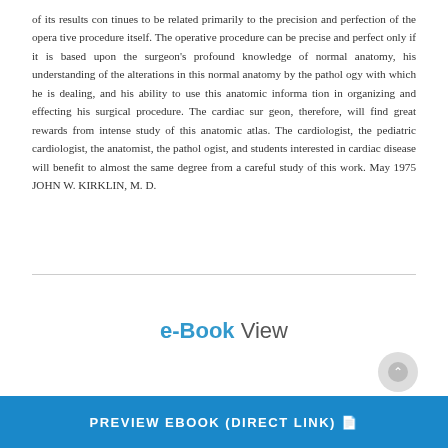of its results con tinues to be related primarily to the precision and perfection of the opera tive procedure itself. The operative procedure can be precise and perfect only if it is based upon the surgeon's profound knowledge of normal anatomy, his understanding of the alterations in this normal anatomy by the pathol ogy with which he is dealing, and his ability to use this anatomic informa tion in organizing and effecting his surgical procedure. The cardiac sur geon, therefore, will find great rewards from intense study of this anatomic atlas. The cardiologist, the pediatric cardiologist, the anatomist, the pathol ogist, and students interested in cardiac disease will benefit to almost the same degree from a careful study of this work. May 1975 JOHN W. KIRKLIN, M. D.
e-Book View
PREVIEW EBOOK (DIRECT LINK)